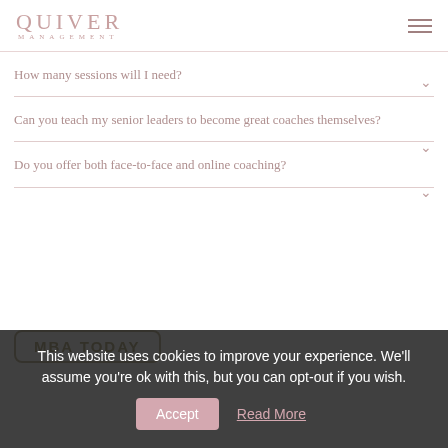Quiver Management
How many sessions will I need?
Can you teach my senior leaders to become great coaches themselves?
Do you offer both face-to-face and online coaching?
[Figure (logo): MBA Today badge/logo in a rounded rectangle border]
This website uses cookies to improve your experience. We'll assume you're ok with this, but you can opt-out if you wish. Accept Read More